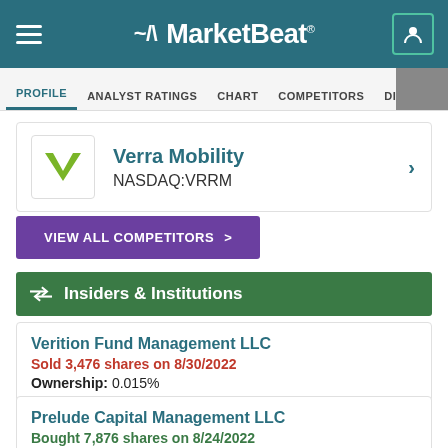MarketBeat
PROFILE  ANALYST RATINGS  CHART  COMPETITORS  DIVIDEND  EARNINGS
Verra Mobility
NASDAQ:VRRM
VIEW ALL COMPETITORS >
Insiders & Institutions
Verition Fund Management LLC
Sold 3,476 shares on 8/30/2022
Ownership: 0.015%
Prelude Capital Management LLC
Bought 7,876 shares on 8/24/2022
Ownership: 0.012%